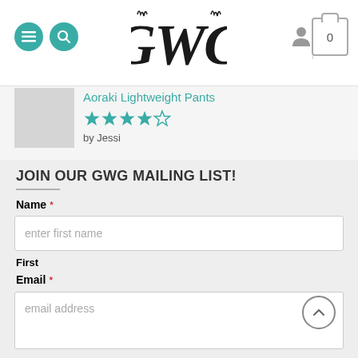[Figure (screenshot): Website header with hamburger menu button (teal circle), search button (teal circle), GWG gothic logo in center, user icon and cart icon (showing 0) on the right]
Aoraki Lightweight Pants
[Figure (other): 4 out of 5 star rating shown in teal color]
by Jessi
JOIN OUR GWG MAILING LIST!
Name *
enter first name
First
Email *
email address